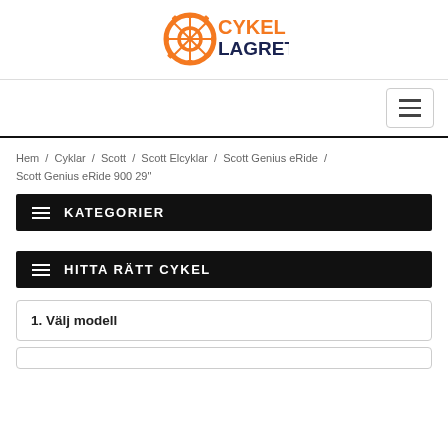[Figure (logo): Cykellagret logo with orange gear/bicycle wheel icon and orange 'CYKEL' text with dark navy 'LAGRET' text below]
[Figure (other): Hamburger menu toggle button (three horizontal lines icon inside a bordered box)]
Hem / Cyklar / Scott / Scott Elcyklar / Scott Genius eRide / Scott Genius eRide 900 29"
KATEGORIER
HITTA RÄTT CYKEL
1. Välj modell